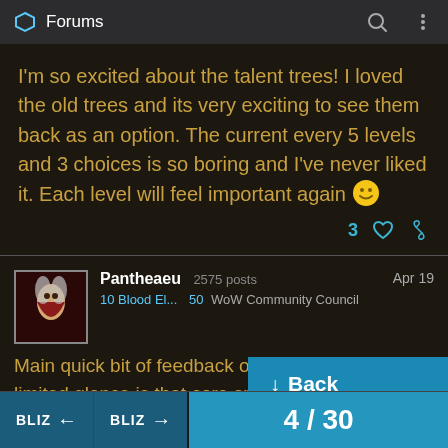Forums
I'm so excited about the talent trees! I loved the old trees and its very exciting to see them back as an option. The current every 5 levels and 3 choices is so boring and I've never liked it. Each level will feel important again 🙂
3 ♡ 🔗
Pantheaeu  2575 posts  Apr 19
10 Blood El...  50  WoW Community Council
Main quick bit of feedback on talents from the limited glance is that core spells/u... away behind choic... ...nt to otherwise pick.
↓ Back
BLIZ ← BLIZ → 4 / 30